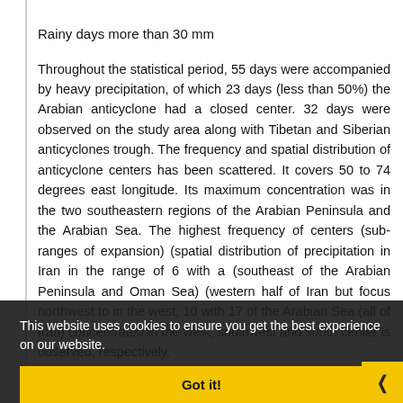Rainy days more than 30 mm
Throughout the statistical period, 55 days were accompanied by heavy precipitation, of which 23 days (less than 50%) the Arabian anticyclone had a closed center. 32 days were observed on the study area along with Tibetan and Siberian anticyclones trough. The frequency and spatial distribution of anticyclone centers has been scattered. It covers 50 to 74 degrees east longitude. Its maximum concentration was in the two southeastern regions of the Arabian Peninsula and the Arabian Sea. The highest frequency of centers (sub-ranges of expansion) (spatial distribution of precipitation in Iran in the range of 6 with a (southeast of the Arabian Peninsula and Oman Sea) (western half of Iran but focus on the eastern (Zagros mountains)), northwest to southeast, in the west, 10 with 17 (maxima concentrated in the east of the Arabian Sea (all of Iran) concentrated in the west, southwest and south center is observed, respectively.